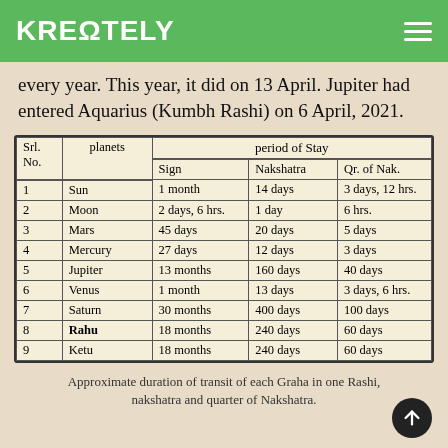KREΩTELY
every year. This year, it did on 13 April. Jupiter had entered Aquarius (Kumbh Rashi) on 6 April, 2021.
| Srl. No. | planets | Sign | Nakshatra | Qr. of Nak. |
| --- | --- | --- | --- | --- |
| 1 | Sun | 1 month | 14 days | 3 days, 12 hrs. |
| 2 | Moon | 2 days, 6 hrs. | 1 day | 6 hrs. |
| 3 | Mars | 45 days | 20 days | 5 days |
| 4 | Mercury | 27 days | 12 days | 3 days |
| 5 | Jupiter | 13 months | 160 days | 40 days |
| 6 | Venus | 1 month | 13 days | 3 days, 6 hrs. |
| 7 | Saturn | 30 months | 400 days | 100 days |
| 8 | Rahu | 18 months | 240 days | 60 days |
| 9 | Ketu | 18 months | 240 days | 60 days |
Approximate duration of transit of each Graha in one Rashi, nakshatra and quarter of Nakshatra.